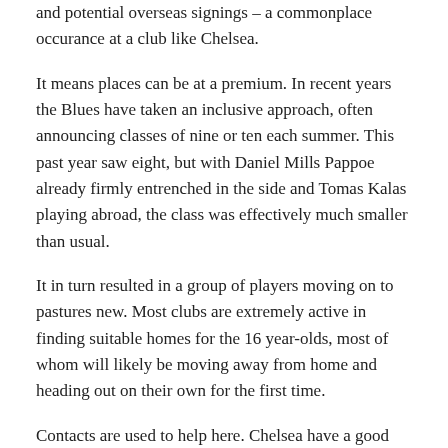and potential overseas signings – a commonplace occurance at a club like Chelsea.
It means places can be at a premium. In recent years the Blues have taken an inclusive approach, often announcing classes of nine or ten each summer. This past year saw eight, but with Daniel Mills Pappoe already firmly entrenched in the side and Tomas Kalas playing abroad, the class was effectively much smaller than usual.
It in turn resulted in a group of players moving on to pastures new. Most clubs are extremely active in finding suitable homes for the 16 year-olds, most of whom will likely be moving away from home and heading out on their own for the first time.
Contacts are used to help here. Chelsea have a good working relationship with Bristol City, where David Lee served as academy manager for a few years, and Harry Rubbins, Daryn Hennessey, Lee Stripp, Lewis Carey and Nathan Livings all earned scholarship deals there over the last five years.
Steve Holland's arrival from Stoke's youth setup meant that relationships have also been built up there, and this summer the Potters took on four ex-Blues in Andy Hall, Jordan Agbaje, Andy Musungu and Unpha Koroma.